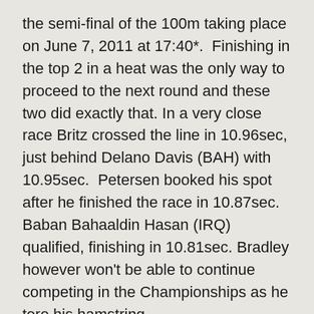the semi-final of the 100m taking place on June 7, 2011 at 17:40*. Finishing in the top 2 in a heat was the only way to proceed to the next round and these two did exactly that. In a very close race Britz crossed the line in 10.96sec, just behind Delano Davis (BAH) with 10.95sec. Petersen booked his spot after he finished the race in 10.87sec. Baban Bahaaldin Hasan (IRQ) qualified, finishing in 10.81sec. Bradley however won't be able to continue competing in the Championships as he tore his hamstring.
100m athletes Philippa van der Merwe and Liezl Hechter cruised their way into the semi-final. In her heat, van der Merwe (11.95sec) finished behind Japanese athlete Anna Doi (11.83sec). In another heat, Tamiris de Liz from Brazil beat Hechter when she finished in 11.84sec. Hechter's 12.20sec was enough for 2nd place. The semi-final of the event will